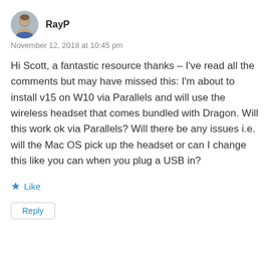[Figure (photo): Circular avatar photo of user RayP, showing a middle-aged man]
RayP
November 12, 2018 at 10:45 pm
Hi Scott, a fantastic resource thanks – I've read all the comments but may have missed this: I'm about to install v15 on W10 via Parallels and will use the wireless headset that comes bundled with Dragon. Will this work ok via Parallels? Will there be any issues i.e. will the Mac OS pick up the headset or can I change this like you can when you plug a USB in?
★ Like
Reply